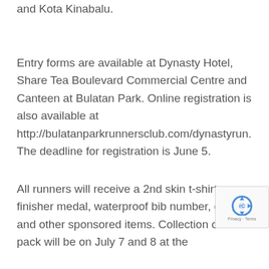and Kota Kinabalu.
Entry forms are available at Dynasty Hotel, Share Tea Boulevard Commercial Centre and Canteen at Bulatan Park. Online registration is also available at http://bulatanparkrunnersclub.com/dynastyrun. The deadline for registration is June 5.
All runners will receive a 2nd skin t-shirt, a finisher medal, waterproof bib number, drinks and other sponsored items. Collection of race pack will be on July 7 and 8 at the lobby of Dynasty Hotel from 10...